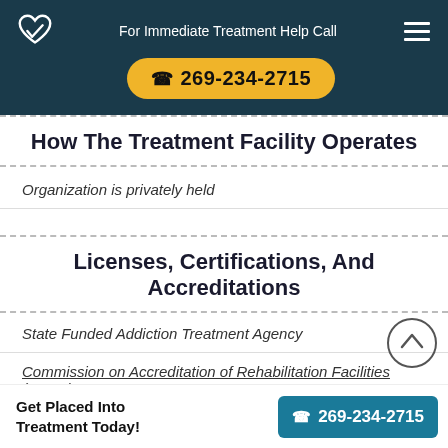For Immediate Treatment Help Call 269-234-2715
How The Treatment Facility Operates
Organization is privately held
Licenses, Certifications, And Accreditations
State Funded Addiction Treatment Agency
Commission on Accreditation of Rehabilitation Facilities (CARF)
Get Placed Into Treatment Today! 269-234-2715